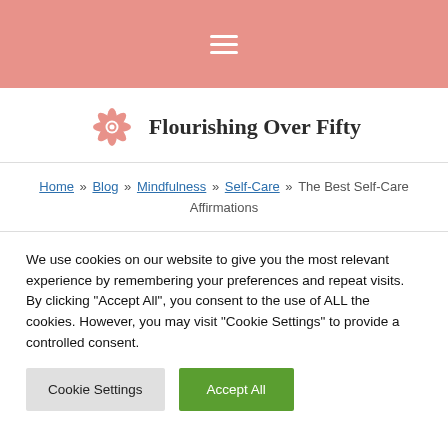≡
[Figure (logo): Flourishing Over Fifty flower logo and site name]
Home » Blog » Mindfulness » Self-Care » The Best Self-Care Affirmations
We use cookies on our website to give you the most relevant experience by remembering your preferences and repeat visits. By clicking "Accept All", you consent to the use of ALL the cookies. However, you may visit "Cookie Settings" to provide a controlled consent.
Cookie Settings | Accept All